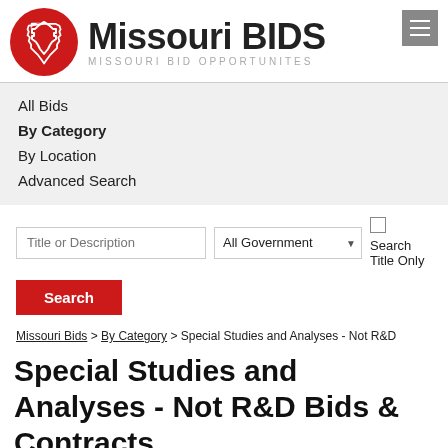[Figure (logo): Missouri BIDS logo with red circle containing Missouri state outline and text 'Missouri BIDS' with subtitle 'MISSOURI BID OPPORTUNITES']
All Bids
By Category
By Location
Advanced Search
Title or Description | All Government ▼ | Search Title Only [checkbox]
Search
Missouri Bids > By Category > Special Studies and Analyses - Not R&D
Special Studies and Analyses - Not R&D Bids & Contracts